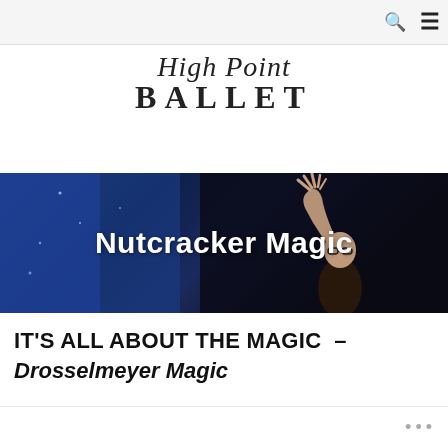Navigation bar with search and menu icons
High Point BALLET
[Figure (photo): Dark banner photo showing a performer (Drosselmeyer) with raised hand in blue and black theatrical lighting, with white bold text overlay reading 'Nutcracker Magic']
IT’S ALL ABOUT THE MAGIC – Drosselmeyer Magic
Partial body text visible at bottom of page